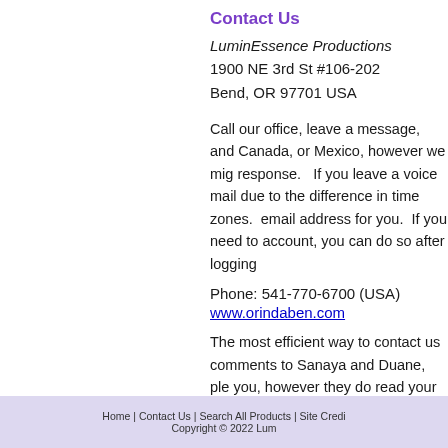Contact Us
LuminEssence Productions
1900 NE 3rd St #106-202
Bend, OR 97701 USA
Call our office, leave a message, and Canada, or Mexico, however we might response.   If you leave a voice mail due to the difference in time zones.  email address for you.  If you need to account, you can do so after logging
Phone: 541-770-6700 (USA)
www.orindaben.com
The most efficient way to contact us comments to Sanaya and Duane, please you, however they do read your gues
Home | Contact Us | Search All Products | Site Credi
Copyright © 2022 Lum